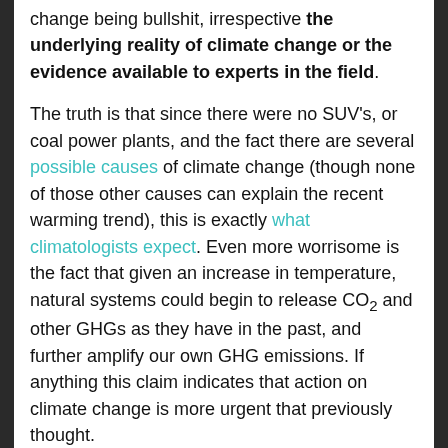change being bullshit, irrespective the underlying reality of climate change or the evidence available to experts in the field.
The truth is that since there were no SUV's, or coal power plants, and the fact there are several possible causes of climate change (though none of those other causes can explain the recent warming trend), this is exactly what climatologists expect. Even more worrisome is the fact that given an increase in temperature, natural systems could begin to release CO2 and other GHGs as they have in the past, and further amplify our own GHG emissions. If anything this claim indicates that action on climate change is more urgent that previously thought.
The CO2 lag does not in any way mean that human emissions of CO2 are not responsible for the